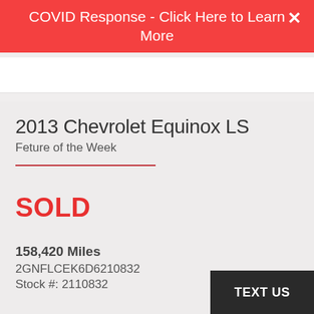COVID Response - Click Here to Learn More
2013 Chevrolet Equinox LS
Feture of the Week
SOLD
158,420 Miles
2GNFLCEK6D6210832
Stock #: 2110832